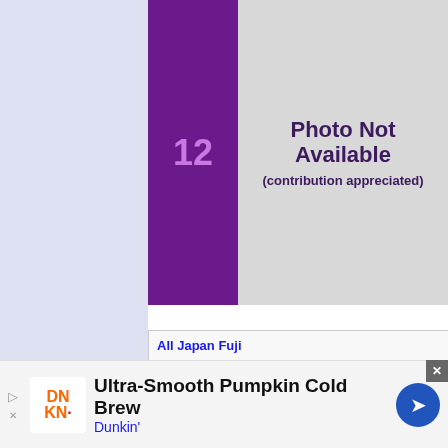[Figure (other): Left lavender panel background]
12
[Figure (other): Photo Not Available placeholder box with purple number 12 on left and grey area with text on right]
Photo Not Available
(contribution appreciated)
All Japan Fuji
12
[Figure (photo): Blue Calsonic Nissan GT-R race car #12 on track at All Japan Fuji race]
Ultra-Smooth Pumpkin Cold Brew
Dunkin'